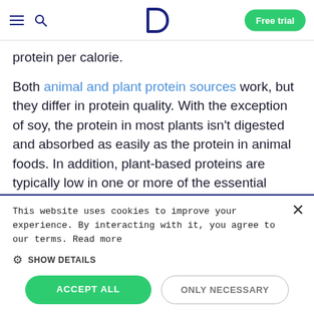D | Free trial
protein per calorie.
Both animal and plant protein sources work, but they differ in protein quality. With the exception of soy, the protein in most plants isn't digested and absorbed as easily as the protein in animal foods. In addition, plant-based proteins are typically low in one or more of the essential amino acids. 3 However, consuming a variety
This website uses cookies to improve your experience. By interacting with it, you agree to our terms. Read more
SHOW DETAILS
ACCEPT ALL
ONLY NECESSARY